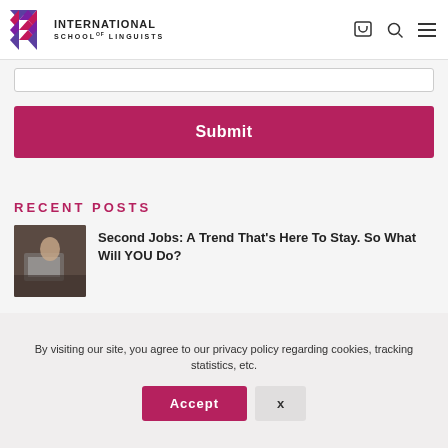International School of Linguists
RECENT POSTS
[Figure (photo): Thumbnail photo of person working on a laptop]
Second Jobs: A Trend That's Here To Stay. So What Will YOU Do?
By visiting our site, you agree to our privacy policy regarding cookies, tracking statistics, etc.
Accept
X